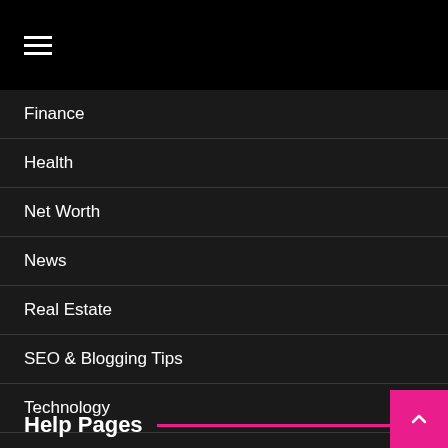[Figure (other): Navigation header bar with hamburger menu icon (three horizontal white lines) on black background]
Finance
Health
Net Worth
News
Real Estate
SEO & Blogging Tips
Technology
Travel
Help Pages